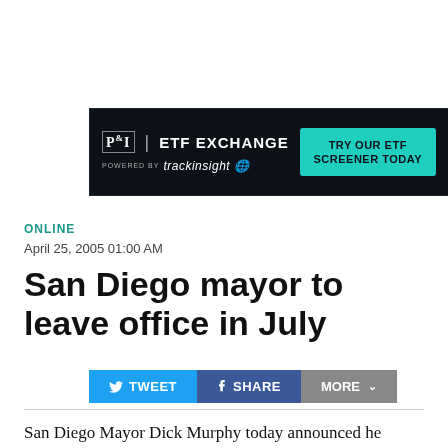[Figure (other): P&I ETF Exchange advertisement banner with trackinsight branding and 'TRY OUR ETF SCREENER TODAY' call-to-action button]
ONLINE
April 25, 2005 01:00 AM
San Diego mayor to leave office in July
[Figure (other): Social sharing buttons: TWEET, SHARE, MORE]
San Diego Mayor Dick Murphy today announced he